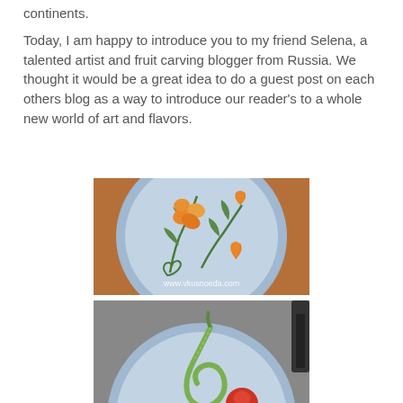continents.
Today, I am happy to introduce you to my friend Selena, a talented artist and fruit carving blogger from Russia. We thought it would be a great idea to do a guest post on each others blog as a way to introduce our reader's to a whole new world of art and flavors.
[Figure (photo): A blue plate on a wooden table with orange flower carvings made from fruit/vegetables and green stem decorations. The plate has floral arrangements. Watermark: www.vkusnoeda.com]
[Figure (photo): A blue plate with cucumber spiral carvings and a red tomato rose with green herb decorations, partially visible at bottom of page.]